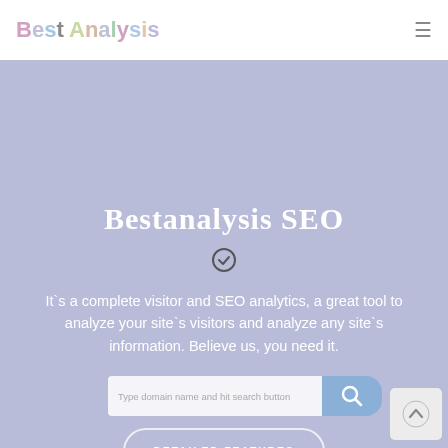[Figure (logo): Best Analysis logo with multicolor letters]
Bestanalysis SEO
It`s a complete visitor and SEO analytics, a great tool to analyze your site`s visitors and analyze any site`s information. Believe us, you need it.
Type domain name and hit search button
DETAILED FEATURES